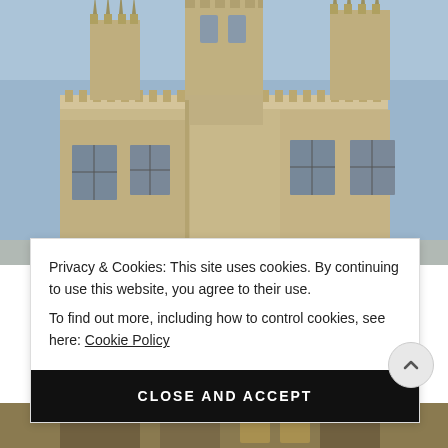[Figure (photo): Gothic stone building with pointed spires and multi-pane windows, viewed from courtyard below. Historic Oxford/Cambridge style architecture against a blue sky.]
Privacy & Cookies: This site uses cookies. By continuing to use this website, you agree to their use.
To find out more, including how to control cookies, see here: Cookie Policy
CLOSE AND ACCEPT
[Figure (photo): Partial view of another building or interior at the bottom of the page.]